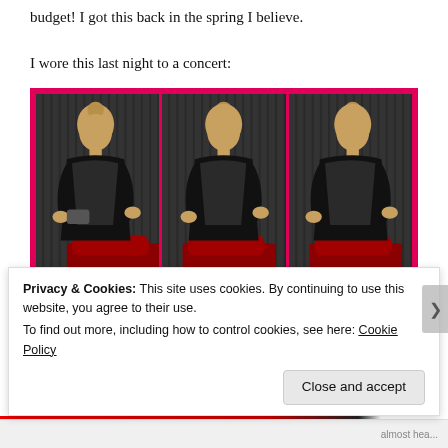budget! I got this back in the spring I believe.
I wore this last night to a concert:
[Figure (photo): Three side-by-side photos of a woman in a black sequined sleeveless dress standing in front of a red car, with a pink/magenta border around the triptych]
Privacy & Cookies: This site uses cookies. By continuing to use this website, you agree to their use.
To find out more, including how to control cookies, see here: Cookie Policy
Close and accept